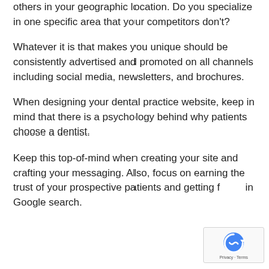others in your geographic location. Do you specialize in one specific area that your competitors don't?
Whatever it is that makes you unique should be consistently advertised and promoted on all channels including social media, newsletters, and brochures.
When designing your dental practice website, keep in mind that there is a psychology behind why patients choose a dentist.
Keep this top-of-mind when creating your site and crafting your messaging. Also, focus on earning the trust of your prospective patients and getting found in Google search.